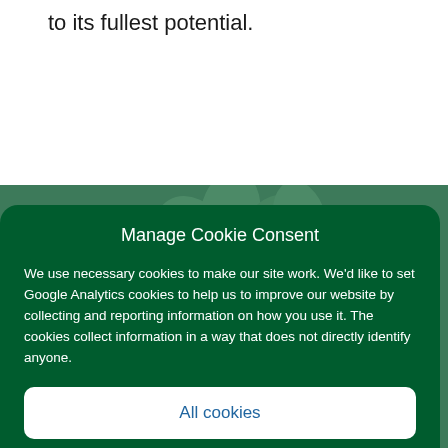to its fullest potential.
[Figure (illustration): Green background with faint leaf/plant illustration]
Manage Cookie Consent
We use necessary cookies to make our site work. We'd like to set Google Analytics cookies to help us to improve our website by collecting and reporting information on how you use it. The cookies collect information in a way that does not directly identify anyone.
All cookies
Deny
Cookie policy